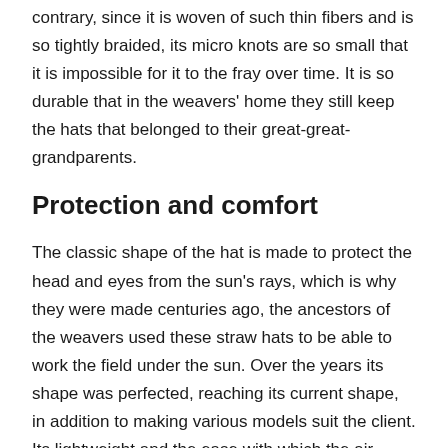contrary, since it is woven of such thin fibers and is so tightly braided, its micro knots are so small that it is impossible for it to the fray over time. It is so durable that in the weavers' home they still keep the hats that belonged to their great-great-grandparents.
Protection and comfort
The classic shape of the hat is made to protect the head and eyes from the sun's rays, which is why they were made centuries ago, the ancestors of the weavers used these straw hats to be able to work the field under the sun. Over the years its shape was perfected, reaching its current shape, in addition to making various models suit the client. Its lightweight and the ease with which the air circulates helps keep your head cool and it is as if you have nothing on your head because of its almost imperceptible weight.